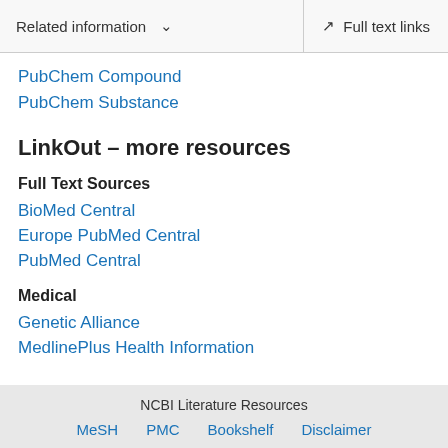Related information ∨   Full text links
PubChem Compound
PubChem Substance
LinkOut – more resources
Full Text Sources
BioMed Central
Europe PubMed Central
PubMed Central
Medical
Genetic Alliance
MedlinePlus Health Information
NCBI Literature Resources   MeSH   PMC   Bookshelf   Disclaimer